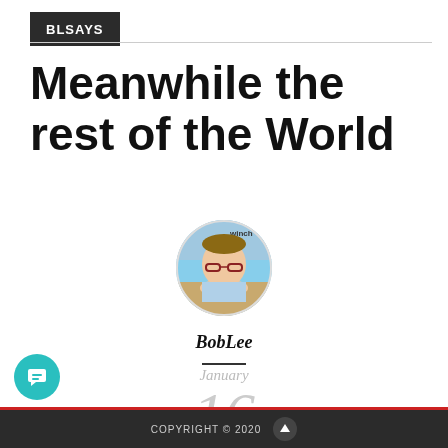BLSAYS
Meanwhile the rest of the World
[Figure (photo): Circular avatar photo of BobLee, a man with glasses resting his chin on his hands, with text 'winch' visible in upper portion of photo]
BobLee
January 16
COPYRIGHT © 2020